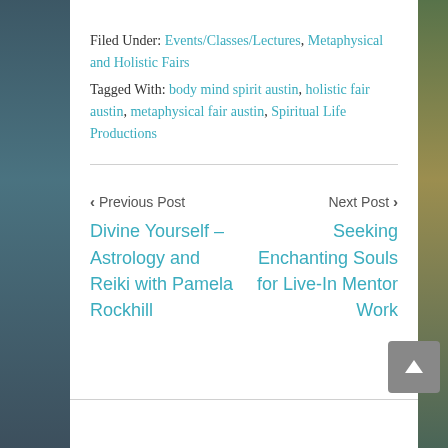Filed Under: Events/Classes/Lectures, Metaphysical and Holistic Fairs
Tagged With: body mind spirit austin, holistic fair austin, metaphysical fair austin, Spiritual Life Productions
< Previous Post | Next Post >
Divine Yourself – Astrology and Reiki with Pamela Rockhill
Seeking Enchanting Souls for Live-In Mentor Work